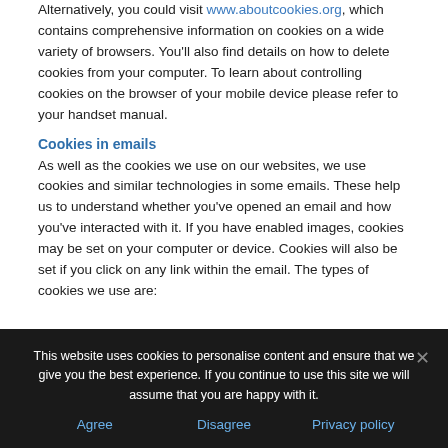Alternatively, you could visit www.aboutcookies.org, which contains comprehensive information on cookies on a wide variety of browsers. You'll also find details on how to delete cookies from your computer. To learn about controlling cookies on the browser of your mobile device please refer to your handset manual.
Cookies in emails
As well as the cookies we use on our websites, we use cookies and similar technologies in some emails. These help us to understand whether you've opened an email and how you've interacted with it. If you have enabled images, cookies may be set on your computer or device. Cookies will also be set if you click on any link within the email. The types of cookies we use are:
This website uses cookies to personalise content and ensure that we give you the best experience. If you continue to use this site we will assume that you are happy with it.
Agree   Disagree   Privacy policy